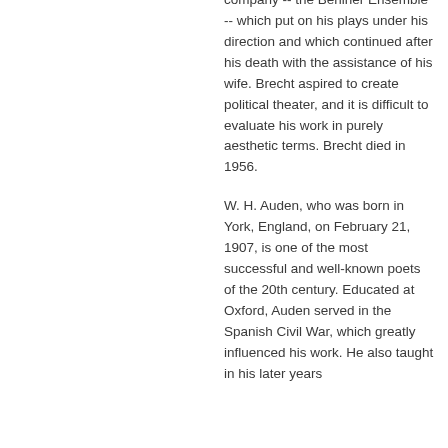company -- the Berliner Ensemble -- which put on his plays under his direction and which continued after his death with the assistance of his wife. Brecht aspired to create political theater, and it is difficult to evaluate his work in purely aesthetic terms. Brecht died in 1956.
W. H. Auden, who was born in York, England, on February 21, 1907, is one of the most successful and well-known poets of the 20th century. Educated at Oxford, Auden served in the Spanish Civil War, which greatly influenced his work. He also taught in his later years...